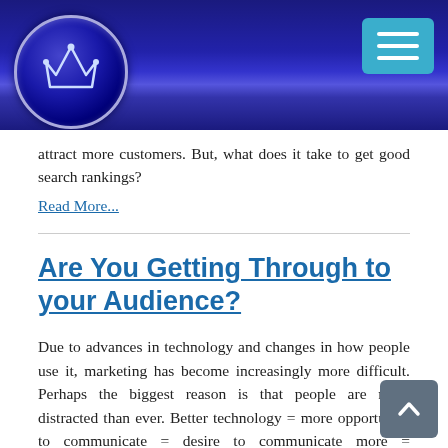[Figure (logo): Website header with dark navy/blue gradient background, circular crown logo on the left, and a teal hamburger menu button on the right]
attract more customers. But, what does it take to get good search rankings?
Read More...
Are You Getting Through to your Audience?
Due to advances in technology and changes in how people use it, marketing has become increasingly more difficult. Perhaps the biggest reason is that people are more distracted than ever. Better technology = more opportunity to communicate = desire to communicate more = exponential increase in distractions. The magnitude of online interactions is